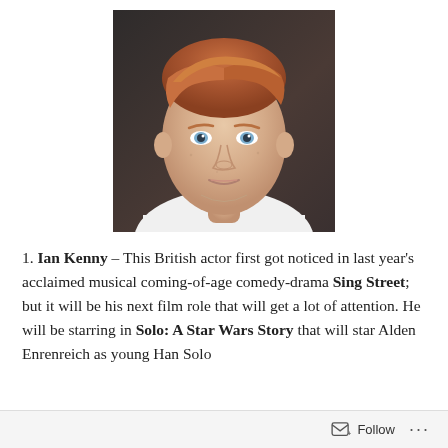[Figure (photo): Headshot of Ian Kenny, a young British actor with reddish-auburn hair, wearing a white t-shirt, against a dark grey background]
1. Ian Kenny – This British actor first got noticed in last year's acclaimed musical coming-of-age comedy-drama Sing Street; but it will be his next film role that will get a lot of attention. He will be starring in Solo: A Star Wars Story that will star Alden Enrenreich as young Han Solo
Follow ···